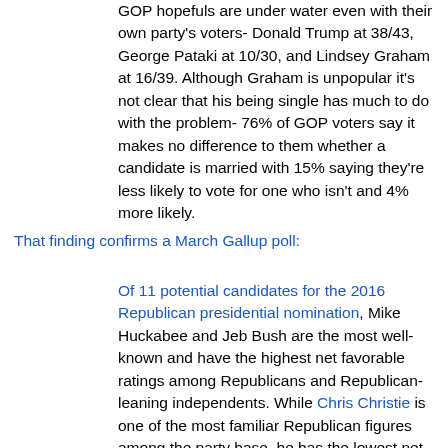GOP hopefuls are under water even with their own party's voters- Donald Trump at 38/43, George Pataki at 10/30, and Lindsey Graham at 16/39. Although Graham is unpopular it's not clear that his being single has much to do with the problem- 76% of GOP voters say it makes no difference to them whether a candidate is married with 15% saying they're less likely to vote for one who isn't and 4% more likely.
That finding confirms a March Gallup poll:
Of 11 potential candidates for the 2016 Republican presidential nomination, Mike Huckabee and Jeb Bush are the most well-known and have the highest net favorable ratings among Republicans and Republican-leaning independents. While Chris Christie is one of the most familiar Republican figures among the party base, he has the lowest net favorable rating.